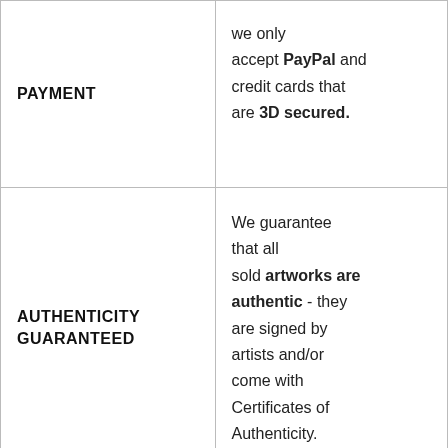| PAYMENT | we only accept PayPal and credit cards that are 3D secured. |
| AUTHENTICITY GUARANTEED | We guarantee that all sold artworks are authentic - they are signed by artists and/or come with Certificates of Authenticity. |
|  |  |